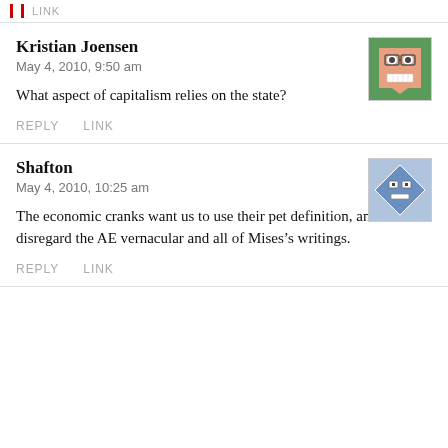LINK
Kristian Joensen
May 4, 2010, 9:50 am
What aspect of capitalism relies on the state?
REPLY    LINK
Shafton
May 4, 2010, 10:25 am
The economic cranks want us to use their pet definition, and disregard the AE vernacular and all of Mises’s writings.
REPLY    LINK